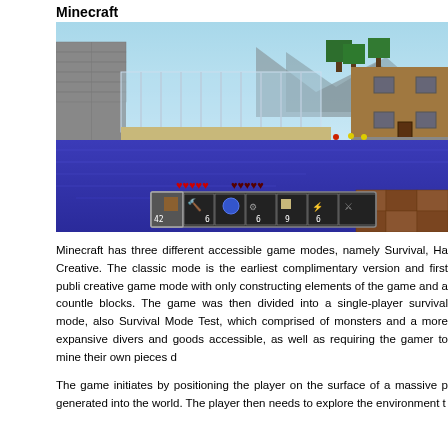Minecraft
[Figure (screenshot): A Minecraft game screenshot showing a 3D blocky landscape with a large body of blue water in the foreground, stone and wooden structures, trees, mountains in the background, and the game HUD showing health hearts and item hotbar at the bottom.]
Minecraft has three different accessible game modes, namely Survival, Ha Creative. The classic mode is the earliest complimentary version and first publi creative game mode with only constructing elements of the game and a countle blocks. The game was then divided into a single-player survival mode, also Survival Mode Test, which comprised of monsters and a more expansive divers and goods accessible, as well as requiring the gamer to mine their own pieces d
The game initiates by positioning the player on the surface of a massive p generated into the world. The player then needs to explore the environment t